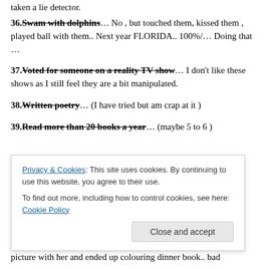36. Swam with dolphins… No , but touched them, kissed them , played ball with them.. Next year FLORIDA.. 100%/… Doing that …
37. Voted for someone on a reality TV show… I don't like these shows as I still feel they are a bit manipulated.
38. Written poetry… (I have tried but am crap at it )
39. Read more than 20 books a year… (maybe 5 to 6 )
Privacy & Cookies: This site uses cookies. By continuing to use this website, you agree to their use. To find out more, including how to control cookies, see here: Cookie Policy
picture with her and ended up colouring dinner book.. bad